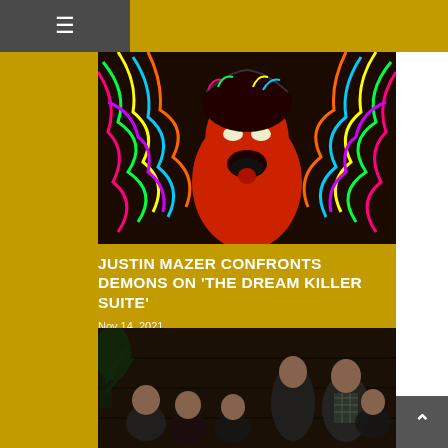[Figure (photo): Colorful psychedelic painting of a red screaming figure with open mouth and multicolored abstract swirling patterns in the background]
JUSTIN MAZER CONFRONTS DEMONS ON 'THE DREAM KILLER SUITE'
Nov 14, 2021
[Figure (photo): Group photo of a band (approximately 5 people) sitting and standing in a dimly lit room with wood paneling, one person wearing a plaid shirt]